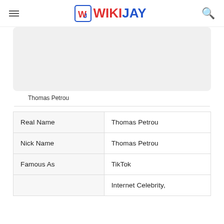WIKIJAY
[Figure (photo): Photo placeholder area for Thomas Petrou]
Thomas Petrou
| Real Name | Thomas Petrou |
| Nick Name | Thomas Petrou |
| Famous As | TikTok |
|  | Internet Celebrity, |